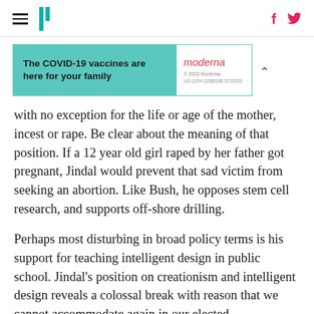HuffPost navigation header with hamburger menu, logo, Facebook and Twitter icons
[Figure (other): Moderna COVID-19 vaccine advertisement banner: 'The COVID-19 vaccines are here for your family' with teal background on left and Moderna logo on white right side]
with no exception for the life or age of the mother, incest or rape. Be clear about the meaning of that position. If a 12 year old girl raped by her father got pregnant, Jindal would prevent that sad victim from seeking an abortion. Like Bush, he opposes stem cell research, and supports off-shore drilling.
Perhaps most disturbing in broad policy terms is his support for teaching intelligent design in public school. Jindal's position on creationism and intelligent design reveals a colossal break with reason that we cannot accommodate again in our elected